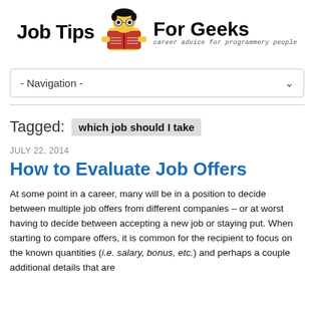Job Tips   For Geeks — career advice for programmery people
- Navigation -
Tagged: which job should I take
JULY 22, 2014
How to Evaluate Job Offers
At some point in a career, many will be in a position to decide between multiple job offers from different companies – or at worst having to decide between accepting a new job or staying put. When starting to compare offers, it is common for the recipient to focus on the known quantities (i.e. salary, bonus, etc.) and perhaps a couple additional details that are